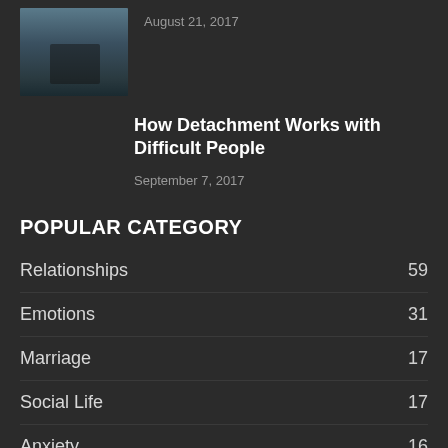[Figure (photo): Thumbnail photo of two people on a beach]
August 21, 2017
How Detachment Works with Difficult People
September 7, 2017
POPULAR CATEGORY
Relationships 59
Emotions 31
Marriage 17
Social Life 17
Anxiety 16
Stress 16
Dating 14
Spirituality